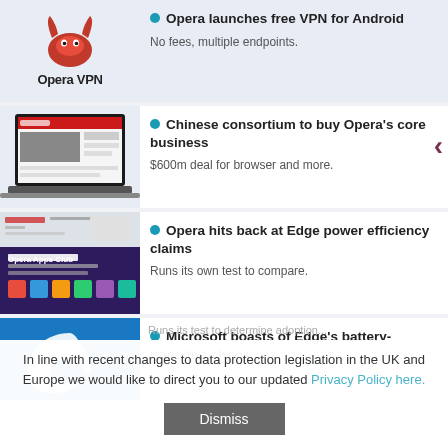[Figure (logo): Opera VPN logo with red horned devil mascot and 'Opera VPN' text]
Opera launches free VPN for Android
No fees, multiple endpoints.
[Figure (screenshot): Laptop showing Opera browser with news website]
Chinese consortium to buy Opera's core business
$600m deal for browser and more.
[Figure (screenshot): Opera Apps Club promotional screenshot]
Opera hits back at Edge power efficiency claims
Runs its own test to compare.
[Figure (illustration): Microsoft Edge logo on blue background]
Microsoft boasts of Edge's battery-boosting chops
In line with recent changes to data protection legislation in the UK and Europe we would like to direct you to our updated Privacy Policy here.